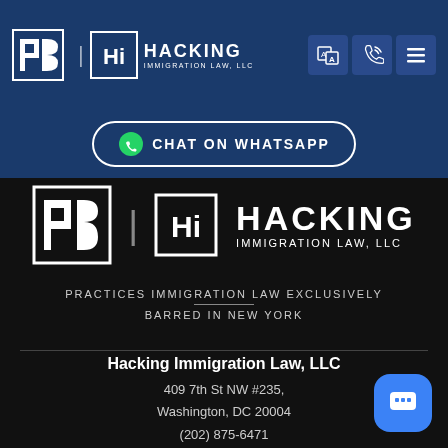[Figure (logo): Navigation bar with PB and Hacking Immigration Law LLC logos, translation icon, phone icon, and hamburger menu icon on dark blue background]
[Figure (other): WhatsApp chat button with WhatsApp icon and text CHAT ON WHATSAPP on dark blue background]
[Figure (logo): Large PB and Hacking Immigration Law LLC logo on dark background]
PRACTICES IMMIGRATION LAW EXCLUSIVELY
BARRED IN NEW YORK
Hacking Immigration Law, LLC
409 7th St NW #235,
Washington, DC 20004
(202) 875-6471